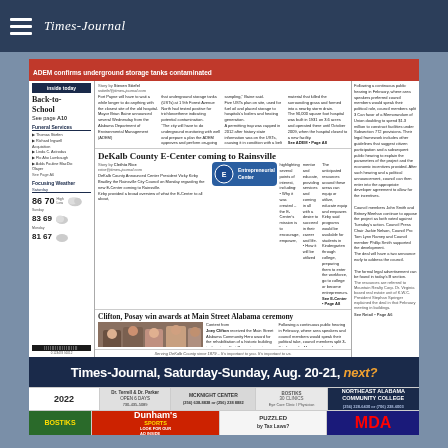Times-Journal navigation bar with hamburger menu
ADEM confirms underground storage tanks contaminated
Story by Steven Stiefel. Fort Payne will have to wait a while longer to do anything with the closest site of the old hospital. Mayor Brian Baine announced several Wednesday from the Alabama Department of Environmental Management (ADEM)...
Inside Today - Back-to-School See page A10
Funeral Services
Focusing Weather
86 70 High Low Saturday
83 69
81 67
DeKalb County E-Center coming to Rainsville
Story by Clethia Rice. DeKalb County Announced Center President Vicky Kirby Bradley the Rainsville City Council on Monday regarding the new E-Center coming to Rainsville.
Clifton, Posay win awards at Main Street Alabama ceremony
Content from: Joey Clifton received the Main Street Alabama Community Hero award for the rehabilitation of a historic building in downtown Fort Payne to create luxury loft apartments. Fort Payne Main Street Board President Randy Posay received the Community Hero Award. Also pictured are PPMB director Carmen Fuller and James Posay.
Serving DeKalb County since 1879 – It's important to you. It's important to us.
Times-Journal, Saturday-Sunday, Aug. 20-21, 2022 next?
NORTHEAST ALABAMA COMMUNITY COLLEGE
Dr. Terrell & Dr. Parker OPEN 6 DAYS
MCKNIGHT CENTER
BOSTIKS
Dunham's SPORTS LOOK FOR OUR AD INSIDE
PUZZLED by Tax Laws?
MDA